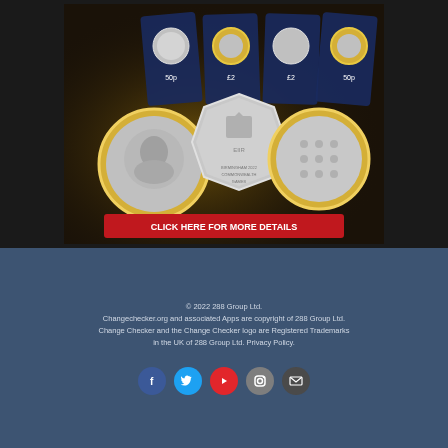[Figure (photo): Advertisement for a coin set showing multiple coins on a dark golden background with a red banner saying CLICK HERE FOR MORE DETAILS. Coins include 50p, £2 denominations including Birmingham 2022 Commonwealth Games and Platinum Jubilee coins.]
© 2022 288 Group Ltd. Changechecker.org and associated Apps are copyright of 288 Group Ltd. Change Checker and the Change Checker logo are Registered Trademarks in the UK of 288 Group Ltd. Privacy Policy.